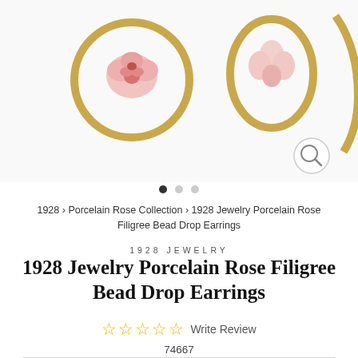[Figure (photo): Product photo showing three earrings: gold circular hoop with pink porcelain rose, gold oval hoop with pink flower, and partial gold hoop on right. A magnify icon is in the lower right corner.]
• • •
1928 › Porcelain Rose Collection › 1928 Jewelry Porcelain Rose Filigree Bead Drop Earrings
1928 JEWELRY
1928 Jewelry Porcelain Rose Filigree Bead Drop Earrings
☆ ☆ ☆ ☆ ☆ Write Review
74667
$38.00 USD